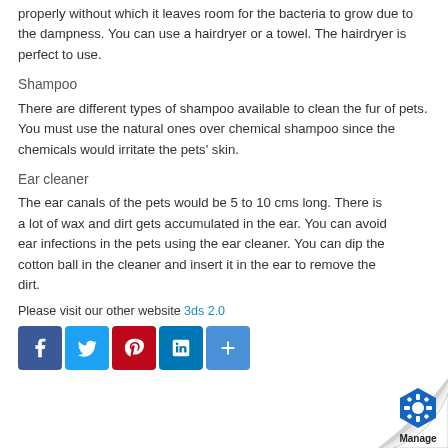properly without which it leaves room for the bacteria to grow due to the dampness. You can use a hairdryer or a towel. The hairdryer is perfect to use.
Shampoo
There are different types of shampoo available to clean the fur of pets. You must use the natural ones over chemical shampoo since the chemicals would irritate the pets' skin.
Ear cleaner
The ear canals of the pets would be 5 to 10 cms long. There is a lot of wax and dirt gets accumulated in the ear. You can avoid ear infections in the pets using the ear cleaner. You can dip the cotton ball in the cleaner and insert it in the ear to remove the dirt.
Please visit our other website 3ds 2.0